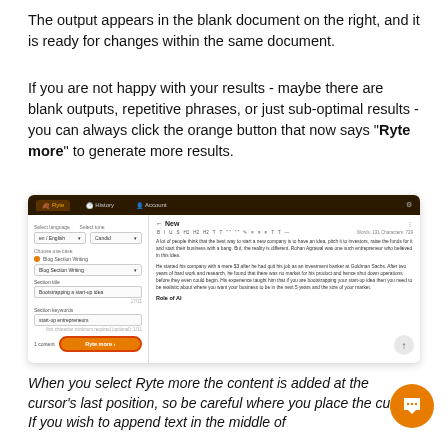The output appears in the blank document on the right, and it is ready for changes within the same document.
If you are not happy with your results - maybe there are blank outputs, repetitive phrases, or just sub-optimal results - you can always click the orange button that now says "Ryte more" to generate more results.
[Figure (screenshot): Screenshot of the Ryte application interface showing the left control panel with options for Blog Section Writing, content input fields, and an orange 'Ryte more' button highlighted with a red border, and the right panel showing generated blog content text.]
When you select Ryte more the content is added at the cursor's last position, so be careful where you place the cursor. If you wish to append text in the middle of